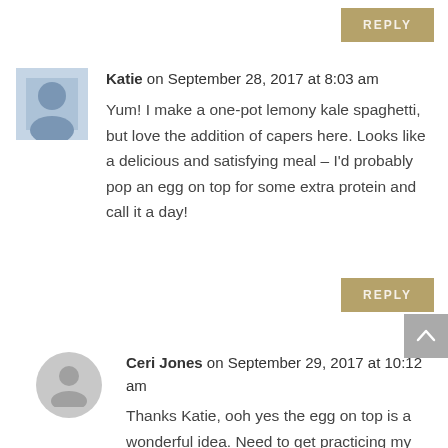REPLY
Katie on September 28, 2017 at 8:03 am
Yum! I make a one-pot lemony kale spaghetti, but love the addition of capers here. Looks like a delicious and satisfying meal – I'd probably pop an egg on top for some extra protein and call it a day!
REPLY
Ceri Jones on September 29, 2017 at 10:12 am
Thanks Katie, ooh yes the egg on top is a wonderful idea. Need to get practicing my poaching skills again!